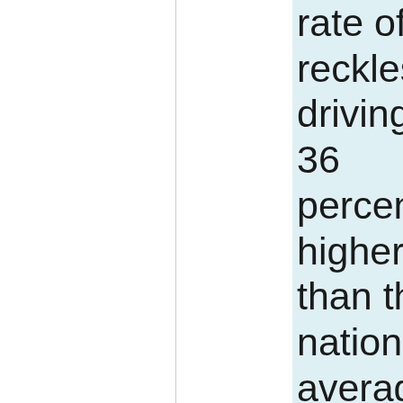rate of reckless driving is 36 percent higher than the national average. The Granite State has also experienced an astronomical increase in driving